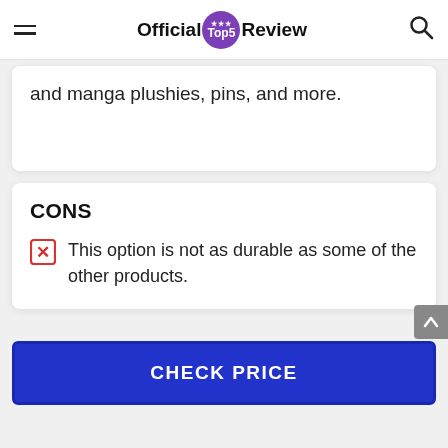Official Top5 Review
and manga plushies, pins, and more.
CONS
This option is not as durable as some of the other products.
CHECK PRICE